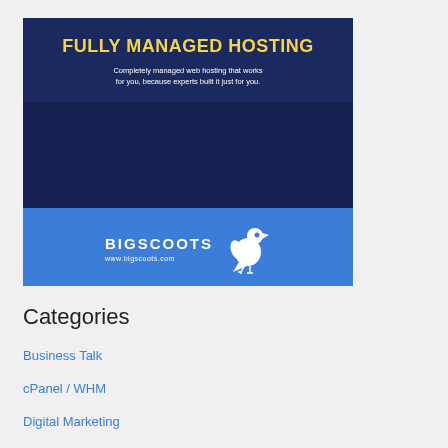[Figure (infographic): BigScoots hosting advertisement banner with dark navy blue top section showing 'FULLY MANAGED HOSTING' in yellow bold text and white subtitle, a dark blue middle section, and a lighter blue bottom section with 'BIGSCOOTS' branding, bird mascot logo, and www.bigscoots.com URL.]
Categories
Business Talk
cPanel / WHM
Digital Marketing